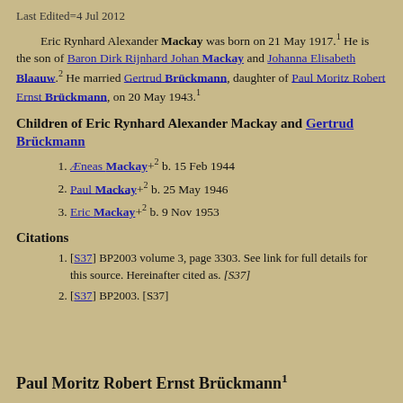Last Edited=4 Jul 2012
Eric Rynhard Alexander Mackay was born on 21 May 1917.1 He is the son of Baron Dirk Rijnhard Johan Mackay and Johanna Elisabeth Blaauw.2 He married Gertrud Brückmann, daughter of Paul Moritz Robert Ernst Brückmann, on 20 May 1943.1
Children of Eric Rynhard Alexander Mackay and Gertrud Brückmann
Æneas Mackay+2 b. 15 Feb 1944
Paul Mackay+2 b. 25 May 1946
Eric Mackay+2 b. 9 Nov 1953
Citations
[S37] BP2003 volume 3, page 3303. See link for full details for this source. Hereinafter cited as. [S37]
[S37] BP2003. [S37]
Paul Moritz Robert Ernst Brückmann1